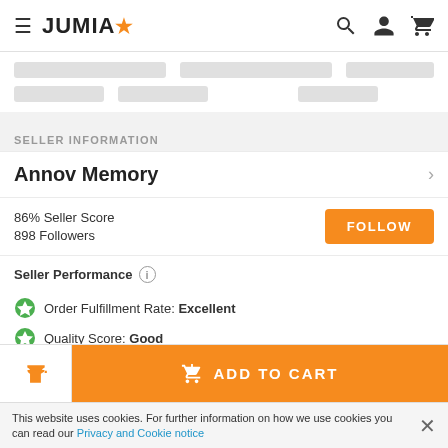JUMIA
[Figure (screenshot): Skeleton loading placeholder bars for product listings]
SELLER INFORMATION
Annov Memory
86% Seller Score
898 Followers
Seller Performance
Order Fulfillment Rate: Excellent
Quality Score: Good
ADD TO CART
This website uses cookies. For further information on how we use cookies you can read our Privacy and Cookie notice